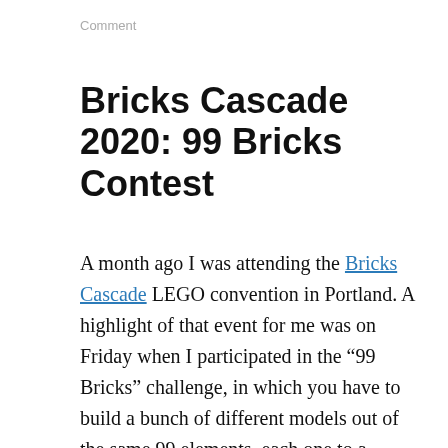Comment
Bricks Cascade 2020: 99 Bricks Contest
A month ago I was attending the Bricks Cascade LEGO convention in Portland. A highlight of that event for me was on Friday when I participated in the “99 Bricks” challenge, in which you have to build a bunch of different models out of the same 99 elements, each one to a different theme or subject matter, and you only have 3 minutes to do it in! I think my favorite was the first one I made, a robot: